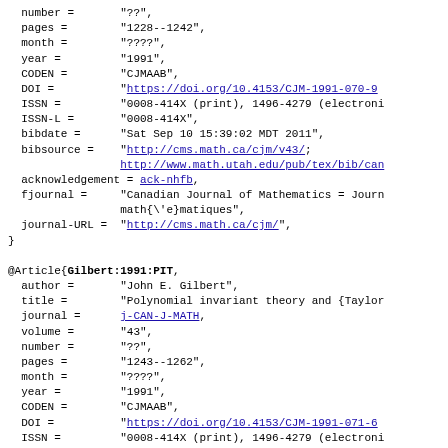BibTeX bibliography entry continuation and @Article{Gilbert:1991:PIT, ...}